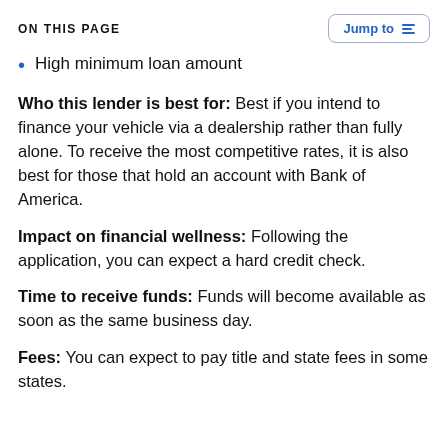ON THIS PAGE
High minimum loan amount
Who this lender is best for: Best if you intend to finance your vehicle via a dealership rather than fully alone. To receive the most competitive rates, it is also best for those that hold an account with Bank of America.
Impact on financial wellness: Following the application, you can expect a hard credit check.
Time to receive funds: Funds will become available as soon as the same business day.
Fees: You can expect to pay title and state fees in some states.